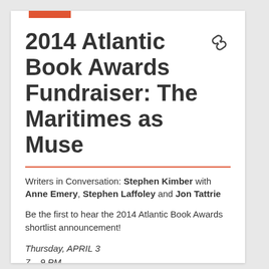2014 Atlantic Book Awards Fundraiser: The Maritimes as Muse
Writers in Conversation: Stephen Kimber with Anne Emery, Stephen Laffoley and Jon Tattrie
Be the first to hear the 2014 Atlantic Book Awards shortlist announcement!
Thursday, APRIL 3
7 – 9 PM
Alumni Hall, King's College University
6350 Coburg Road, Halifax